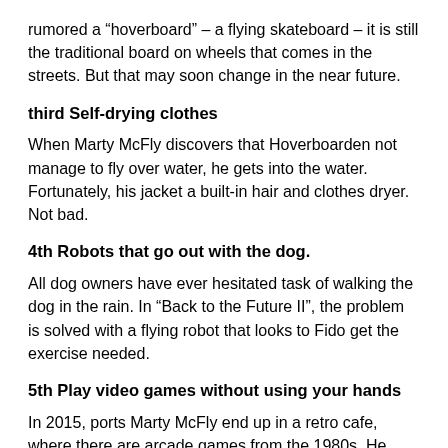rumored a “hoverboard” – a flying skateboard – it is still the traditional board on wheels that comes in the streets. But that may soon change in the near future.
third Self-drying clothes
When Marty McFly discovers that Hoverboarden not manage to fly over water, he gets into the water. Fortunately, his jacket a built-in hair and clothes dryer. Not bad.
4th Robots that go out with the dog.
All dog owners have ever hesitated task of walking the dog in the rain. In “Back to the Future II”, the problem is solved with a flying robot that looks to Fido get the exercise needed.
5th Play video games without using your hands
In 2015, ports Marty McFly end up in a retro cafe, where there are arcade games from the 1980s. He tries to impress the two boys by quickly shoot the bandits with the arcade game related gun. The boys’ reaction? “Do you have to use your hands? It’s like a baby’s toy.” The closest we have